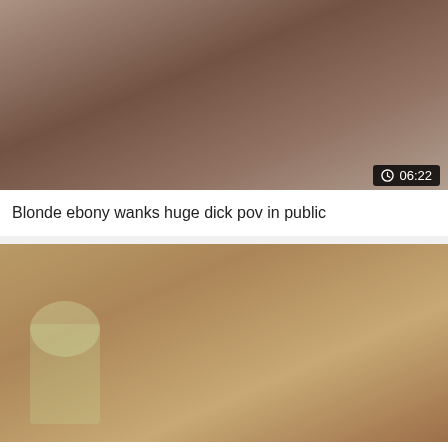[Figure (photo): Thumbnail image for adult video content, cropped shot with dark tones]
Blonde ebony wanks huge dick pov in public
[Figure (photo): Photo of a blonde woman with tattoos in a hotel room setting]
Live Sexy Models 🔥
Powered By exoClick